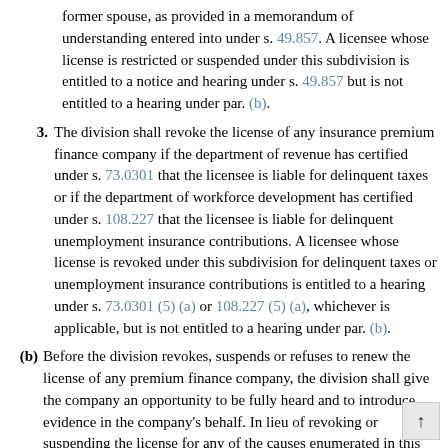former spouse, as provided in a memorandum of understanding entered into under s. 49.857. A licensee whose license is restricted or suspended under this subdivision is entitled to a notice and hearing under s. 49.857 but is not entitled to a hearing under par. (b).
3. The division shall revoke the license of any insurance premium finance company if the department of revenue has certified under s. 73.0301 that the licensee is liable for delinquent taxes or if the department of workforce development has certified under s. 108.227 that the licensee is liable for delinquent unemployment insurance contributions. A licensee whose license is revoked under this subdivision for delinquent taxes or unemployment insurance contributions is entitled to a hearing under s. 73.0301 (5) (a) or 108.227 (5) (a), whichever is applicable, but is not entitled to a hearing under par. (b).
(b) Before the division revokes, suspends or refuses to renew the license of any premium finance company, the division shall give the company an opportunity to be fully heard and to introduce evidence in the company's behalf. In lieu of revoking or suspending the license for any of the causes enumerated in this subsection, after hearing, the division may subject the premium finance company to a penalty of not more than $200 for each offense when in the division's judgment the division finds that the public interest would not be harmed by the continued operation of such comp…